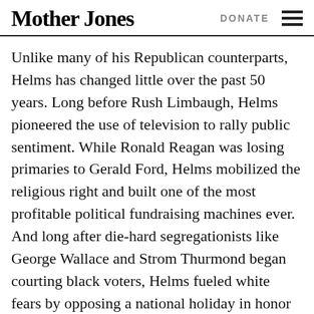Mother Jones | DONATE
Unlike many of his Republican counterparts, Helms has changed little over the past 50 years. Long before Rush Limbaugh, Helms pioneered the use of television to rally public sentiment. While Ronald Reagan was losing primaries to Gerald Ford, Helms mobilized the religious right and built one of the most profitable political fundraising machines ever. And long after die-hard segregationists like George Wallace and Strom Thurmond began courting black voters, Helms fueled white fears by opposing a national holiday in honor of Dr. Martin Luther King Jr., whistling “Dixie” while standing next to Senator Carol Moseley-Braun, and supporting apartheid in South Africa.